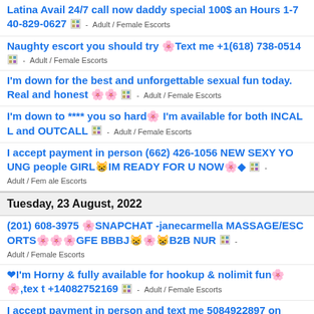Latina Avail 24/7 call now daddy special 100$ an Hours 1-740-829-0627 [icon] - Adult / Female Escorts
Naughty escort you should try 🌸Text me +1(618) 738-0514 [icon] - Adult / Female Escorts
I'm down for the best and unforgettable sexual fun today. Real and honest 🌸🌸 [icon] - Adult / Female Escorts
I'm down to **** you so hard🌸 I'm available for both INCALL and OUTCALL [icon] - Adult / Female Escorts
I accept payment in person (662) 426-1056 NEW SEXY YOUNG people GIRL😸IM READY FOR U NOW🌸◆ [icon] - Adult / Female Escorts
Tuesday, 23 August, 2022
(201) 608-3975 🌸SNAPCHAT -janecarmella MASSAGE/ESCORTS🌸🌸🌸GFE BBBJ😸🌸😸B2B NUR [icon] - Adult / Female Escorts
❤I'm Horny & fully available for hookup & nolimit fun🌸🌸,text +14082752169 [icon] - Adult / Female Escorts
I accept payment in person and text me 5084922897 on my...